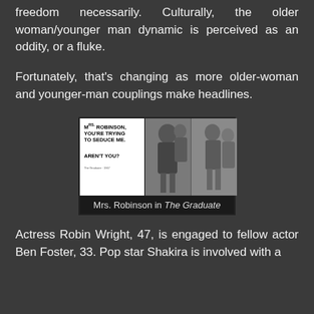freedom necessarily. Culturally, the older woman/younger man dynamic is perceived as an oddity, or a fluke.
Fortunately, that's changing as more older-woman and younger-man couplings make headlines.
[Figure (photo): Composite image from The Graduate (1967) showing movie poster text 'Mrs. Robinson, You're Trying To Seduce Me. Aren't You?' alongside black-and-white film stills of Mrs. Robinson and Benjamin.]
Mrs. Robinson in The Graduate
Actress Robin Wright, 47, is engaged to fellow actor Ben Foster, 33. Pop star Shakira is involved with a